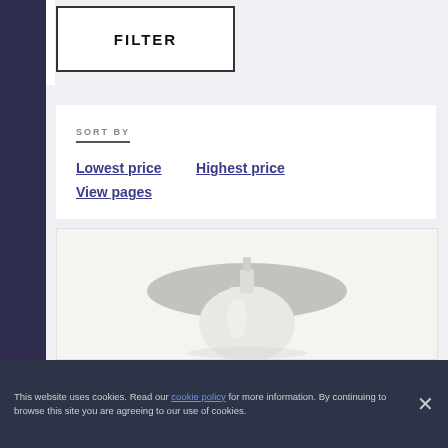FILTER
SORT BY
Lowest price
Highest price
View pages
[Figure (photo): White bottle or dispenser product photographed from above against a light background, with a grey oval/disc shape visible]
This website uses cookies. Read our cookie policy for more information. By continuing to browse this site you are agreeing to our use of cookies.